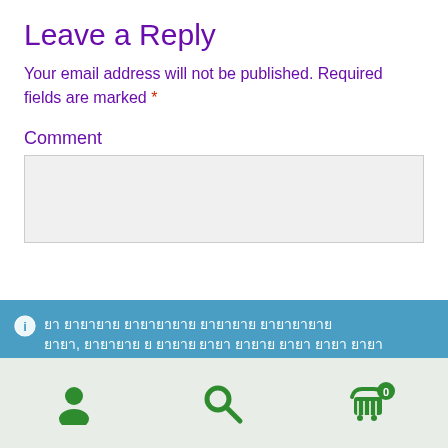Leave a Reply
Your email address will not be published. Required fields are marked *
Comment
[Figure (screenshot): Comment text area input field, light grey background]
[info icon] [non-latin text block] Dismiss